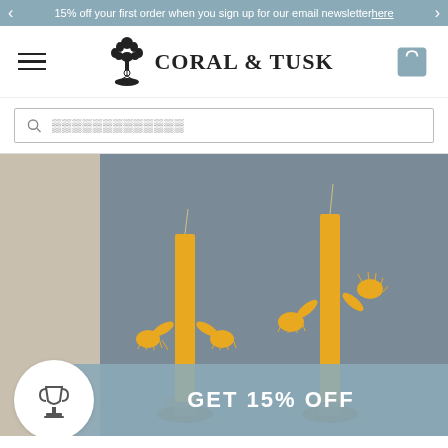15% off your first order when you sign up for our email newsletter here
[Figure (logo): Coral & Tusk brand logo with illustrated tree and bird, alongside hamburger menu icon and shopping bag icon]
Search bar with placeholder text
[Figure (photo): Two yellow beeswax candles with small sculptural hands/arms attached, displayed in brass candlestick holders against a grey background]
GET 15% OFF